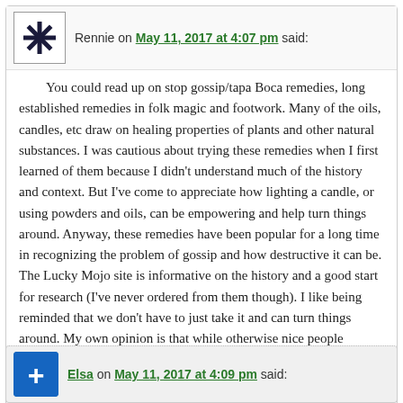Rennie on May 11, 2017 at 4:07 pm said:
You could read up on stop gossip/tapa Boca remedies, long established remedies in folk magic and footwork. Many of the oils, candles, etc draw on healing properties of plants and other natural substances. I was cautious about trying these remedies when I first learned of them because I didn't understand much of the history and context. But I've come to appreciate how lighting a candle, or using powders and oils, can be empowering and help turn things around. Anyway, these remedies have been popular for a long time in recognizing the problem of gossip and how destructive it can be. The Lucky Mojo site is informative on the history and a good start for research (I've never ordered from them though). I like being reminded that we don't have to just take it and can turn things around. My own opinion is that while otherwise nice people broadcast or feed on gossip, the intent is often malicious and willful. Being self-protective is wise, especially when you're dealing with personal challenges and trying to sort things out. There are some great classic movies that deal with the harm of gossip as a theme.
Reply ↓
Elsa on May 11, 2017 at 4:09 pm said: